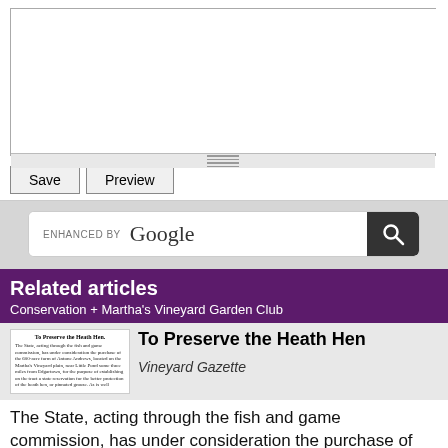[Figure (screenshot): Text editor textarea with resize handle and toolbar, followed by Save and Preview buttons]
[Figure (screenshot): Google enhanced search bar with search button on gray background]
Related articles
Conservation + Martha's Vineyard Garden Club
[Figure (screenshot): Thumbnail image of newspaper article 'To Preserve the Heath Hen']
To Preserve the Heath Hen
Vineyard Gazette
The State, acting through the fish and game commission, has under consideration the purchase of the 600-acre farm of Antone Andrews, located on the Martha's Vineyard plain, near Little Pond some th